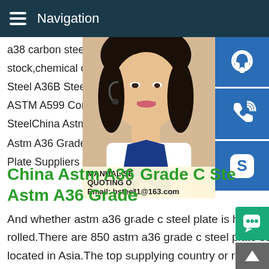Navigation
a38 carbon steel plate,China,factory,suppliers,manufacturers stock,chemical composition,hot sale,free s Steel A36B Steel Next S355JOWP SPA-H ASTM A599 Corten Steel Plates.ASTM A3 SteelChina Astm A36 Grade C Steel Plate Astm A36 Grade C Steel Plate,China Astm Plate Suppliers and Manufacturers Directo
[Figure (photo): Customer service woman with headset, smiling, with blue contact icons (headset, phone, Skype) overlaid on the right side, and a manual/quoting section with email bsteel1@163.com]
China Astm A36 Grade C Ste Astm A36 Grade
And whether astm a36 grade c steel plate is hot rolled,or cold rolled.There are 850 astm a36 grade c steel plate suppliers,mainly located in Asia.The top supplying country or region is China,w supply 100% of astm a36 grade c steel plate respectively.Chin ASTM A36 Mild Steel Plate - China ASTM A36 Steel astm a3